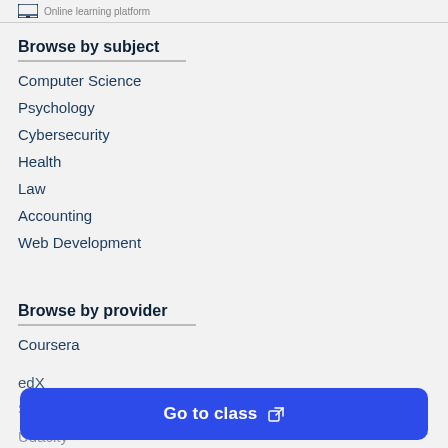Browse by subject
Computer Science
Psychology
Cybersecurity
Health
Law
Accounting
Web Development
Browse by provider
Coursera
edX
Sharelearn
Udacity